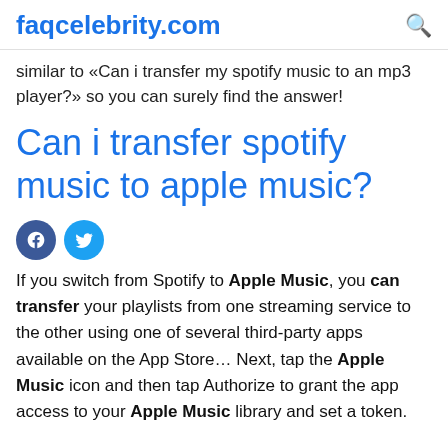faqcelebrity.com
similar to «Can i transfer my spotify music to an mp3 player?» so you can surely find the answer!
Can i transfer spotify music to apple music?
[Figure (illustration): Facebook and Twitter social share icons]
If you switch from Spotify to Apple Music, you can transfer your playlists from one streaming service to the other using one of several third-party apps available on the App Store… Next, tap the Apple Music icon and then tap Authorize to grant the app access to your Apple Music library and set a token.